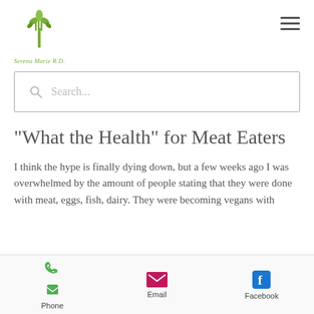[Figure (logo): Serena Marie R.D. logo with green fork and leaves, text 'Serena Marie R.D.' below]
Search...
"What the Health" for Meat Eaters
I think the hype is finally dying down, but a few weeks ago I was overwhelmed by the amount of people stating that they were done with meat, eggs, fish, dairy. They were becoming vegans with
Phone  Email  Facebook